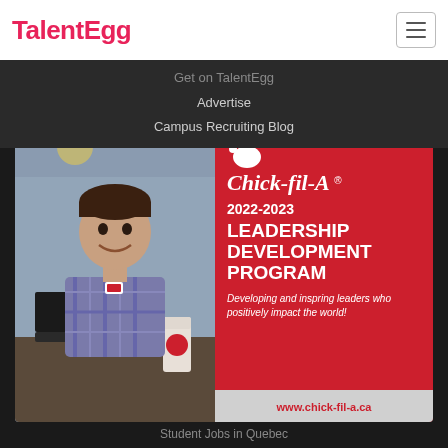TalentEgg
Get on TalentEgg
Advertise
Campus Recruiting Blog
[Figure (screenshot): Chick-fil-A 2022-2023 Leadership Development Program advertisement. Left half shows a young man smiling at a laptop with a Chick-fil-A cup. Right half is a red panel with Chick-fil-A logo, '2022-2023', 'LEADERSHIP DEVELOPMENT PROGRAM', tagline 'Developing and inspring leaders who positively impact the world!', and footer 'www.chick-fil-a.ca']
Student Jobs in Ontario
Student Jobs in Quebec